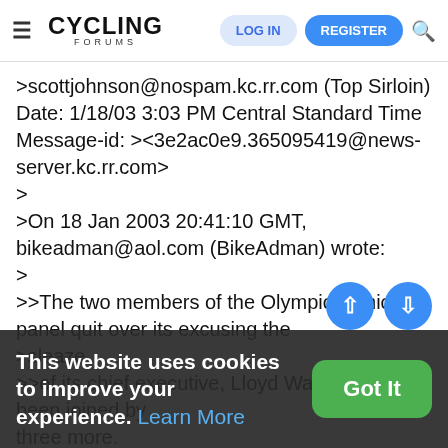CYCLING FORUMS — LOG IN | REGISTER
>scottjohnson@nospam.kc.rr.com (Top Sirloin) Date: 1/18/03 3:03 PM Central Standard Time Message-id: ><3e2ac0e9.365095419@news-server.kc.rr.com>
>
>On 18 Jan 2003 20:41:10 GMT, bikeadman@aol.com (BikeAdman) wrote:
>
>>The two members of the Olympics ethics panel quit over its excusing the
>sleaze
>>of its chief executive, Lloyd Ward, have been joined by three more.
>>
>>Read about it in today's NY Times:
>>http://www.nytimes.com/2003/01/18/sports/othersports/18OLYM.html